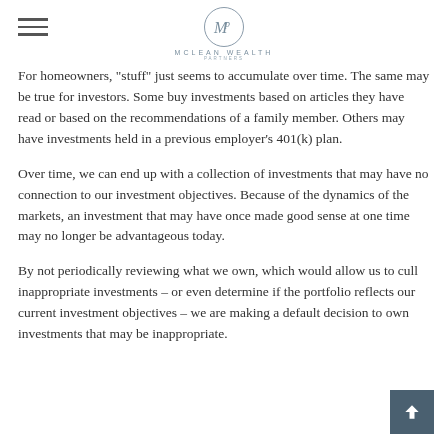McLean Wealth Partners
For homeowners, "stuff" just seems to accumulate over time. The same may be true for investors. Some buy investments based on articles they have read or based on the recommendations of a family member. Others may have investments held in a previous employer's 401(k) plan.
Over time, we can end up with a collection of investments that may have no connection to our investment objectives. Because of the dynamics of the markets, an investment that may have once made good sense at one time may no longer be advantageous today.
By not periodically reviewing what we own, which would allow us to cull inappropriate investments – or even determine if the portfolio reflects our current investment objectives – we are making a default decision to own investments that may be inappropriate.